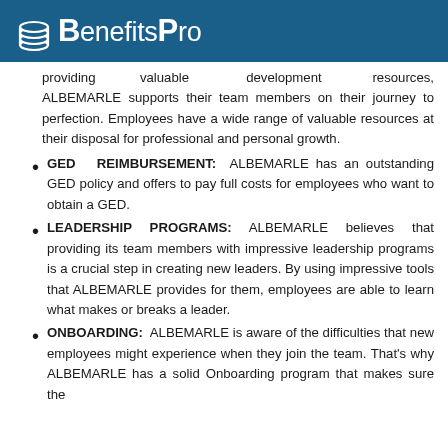BenefitsPro
providing valuable development resources, ALBEMARLE supports their team members on their journey to perfection. Employees have a wide range of valuable resources at their disposal for professional and personal growth.
GED REIMBURSEMENT: ALBEMARLE has an outstanding GED policy and offers to pay full costs for employees who want to obtain a GED.
LEADERSHIP PROGRAMS: ALBEMARLE believes that providing its team members with impressive leadership programs is a crucial step in creating new leaders. By using impressive tools that ALBEMARLE provides for them, employees are able to learn what makes or breaks a leader.
ONBOARDING: ALBEMARLE is aware of the difficulties that new employees might experience when they join the team. That's why ALBEMARLE has a solid Onboarding program that makes sure the